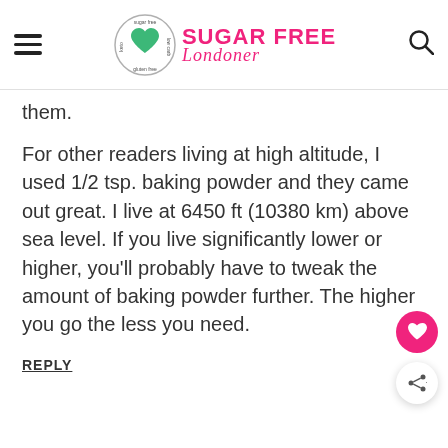Sugar Free Londoner
them.
For other readers living at high altitude, I used 1/2 tsp. baking powder and they came out great. I live at 6450 ft (10380 km) above sea level. If you live significantly lower or higher, you'll probably have to tweak the amount of baking powder further. The higher you go the less you need.
REPLY